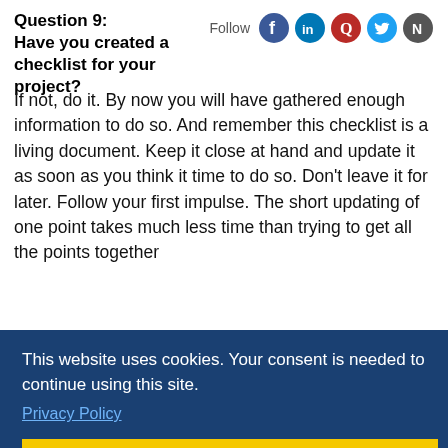Question 9:
Have you created a checklist for your project?
If not, do it. By now you will have gathered enough information to do so. And remember this checklist is a living document. Keep it close at hand and update it as soon as you think it time to do so. Don't leave it for later. Follow your first impulse. The short updating of one point takes much less time than trying to get all the points together later. And this is...
This website uses cookies. Your consent is needed to continue using this site.
Privacy Policy
AGREE
If you find the checklist for your suitable for your…